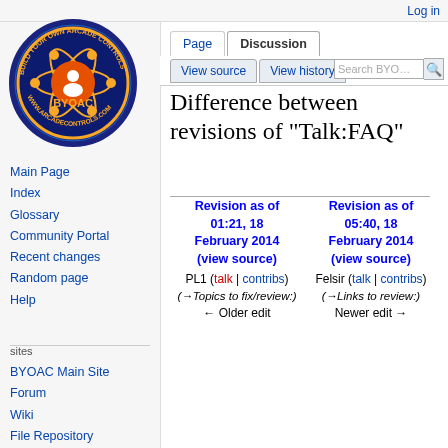Log in
[Figure (logo): BYOAC Build Your Own Arcade Controls logo - circular badge with atomic orbit design, yellow and blue colors, www.arcadecontrols.com]
Main Page
Index
Glossary
Community Portal
Recent changes
Random page
Help
sites
BYOAC Main Site
Forum
Wiki
File Repository
Difference between revisions of "Talk:FAQ"
| Revision as of 01:21, 18 February 2014 (view source) | Revision as of 05:40, 18 February 2014 (view source) |
| --- | --- |
| PL1 (talk | contribs) | Felsir (talk | contribs) |
| (→Topics to fix/review:) | (→Links to review:) |
| ← Older edit | Newer edit → |